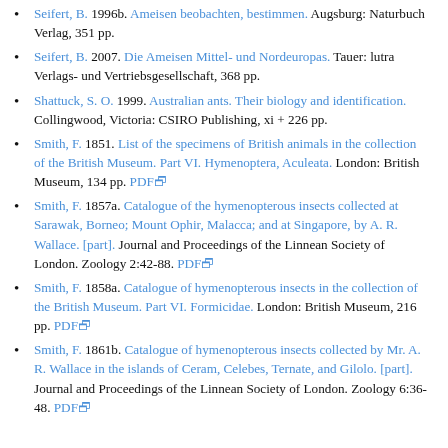Seifert, B. 1996b. Ameisen beobachten, bestimmen. Augsburg: Naturbuch Verlag, 351 pp.
Seifert, B. 2007. Die Ameisen Mittel- und Nordeuropas. Tauer: lutra Verlags- und Vertriebsgesellschaft, 368 pp.
Shattuck, S. O. 1999. Australian ants. Their biology and identification. Collingwood, Victoria: CSIRO Publishing, xi + 226 pp.
Smith, F. 1851. List of the specimens of British animals in the collection of the British Museum. Part VI. Hymenoptera, Aculeata. London: British Museum, 134 pp. PDF
Smith, F. 1857a. Catalogue of the hymenopterous insects collected at Sarawak, Borneo; Mount Ophir, Malacca; and at Singapore, by A. R. Wallace. [part]. Journal and Proceedings of the Linnean Society of London. Zoology 2:42-88. PDF
Smith, F. 1858a. Catalogue of hymenopterous insects in the collection of the British Museum. Part VI. Formicidae. London: British Museum, 216 pp. PDF
Smith, F. 1861b. Catalogue of hymenopterous insects collected by Mr. A. R. Wallace in the islands of Ceram, Celebes, Ternate, and Gilolo. [part]. Journal and Proceedings of the Linnean Society of London. Zoology 6:36-48. PDF